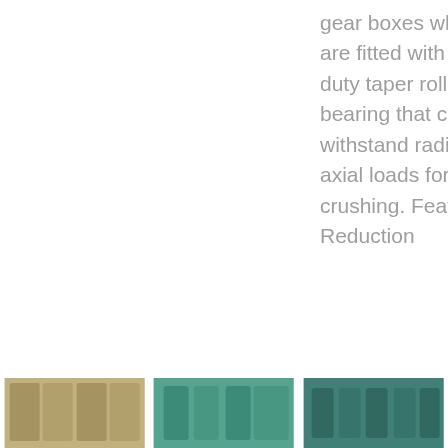gear boxes which are fitted with heavy duty taper roller bearing that can withstand radial axial loads for crushing. Features . Reduction
[Figure (illustration): A dark purple 'Get Price' button with rounded right side]
[Figure (illustration): A purple square arrow-up button]
[Figure (photo): Photo of stacked wooden boxes/crates in a warehouse]
[Figure (photo): Photo of green industrial machinery/equipment]
[Figure (photo): Photo of green industrial machinery in a facility]